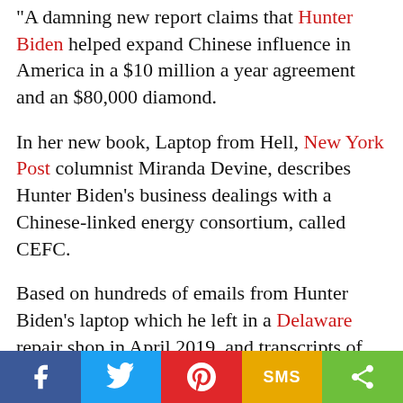"A damning new report claims that Hunter Biden helped expand Chinese influence in America in a $10 million a year agreement and an $80,000 diamond.
In her new book, Laptop from Hell, New York Post columnist Miranda Devine, describes Hunter Biden's business dealings with a Chinese-linked energy consortium, called CEFC.
Based on hundreds of emails from Hunter Biden's laptop which he left in a Delaware repair shop in April 2019, and transcripts of messages from WhatsApp, she claims that the Biden family offered their services to CEFC to help expand its business around the world.